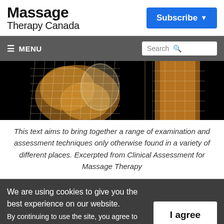Massage Therapy Canada
[Figure (screenshot): Blue Subscribe button with dropdown arrow in page header]
[Figure (photo): Anatomical knee/shoulder joint illustration with grid overlay on black background]
This text aims to bring together a range of examination and assessment techniques only otherwise found in a variety of different places. Excerpted from Clinical Assessment for Massage Therapy
We are using cookies to give you the best experience on our website. By continuing to use the site, you agree to the use of cookies. To find out more, read our privacy policy.
I agree